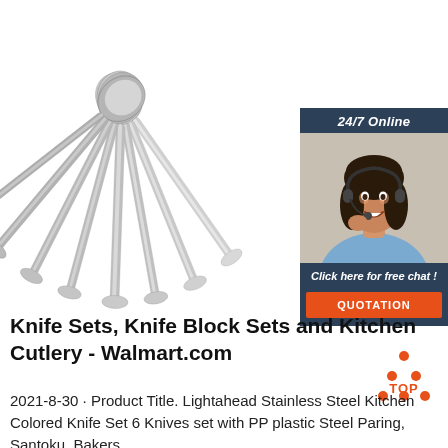[Figure (photo): Multiple stainless steel spoons fanned out on a white background, viewed from above, showing shiny silver handles and round spoon heads]
[Figure (infographic): 24/7 Online chat widget showing a female customer service representative wearing a headset, with text 'Click here for free chat!' and an orange QUOTATION button]
Knife Sets, Knife Block Sets and Kitchen Cutlery - Walmart.com
2021-8-30 · Product Title. Lightahead Stainless Steel Kitchen Colored Knife Set 6 Knives set with PP plastic Steel Paring, Santoku, Bakers...